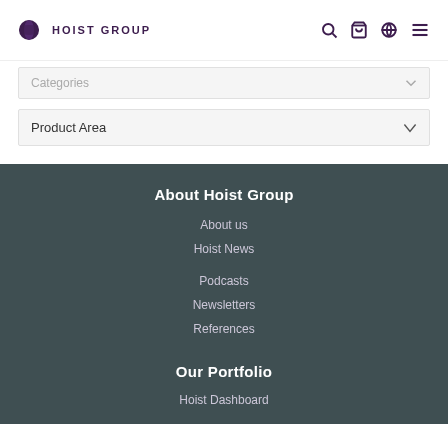Hoist Group
Categories
Product Area
About Hoist Group
About us
Hoist News
Podcasts
Newsletters
References
Our Portfolio
Hoist Dashboard